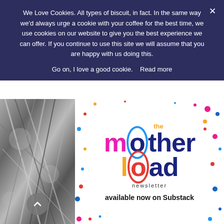We Love Cookies. All types of biscuit, in fact. In the same way we'd always urge a cookie with your coffee for the best time, we use cookies on our website to give you the best experience we can offer. If you continue to use this site we will assume that you are happy with us doing this.
Go on, I love a good cookie.   Read more
[Figure (photo): Black and white close-up photo of feathers or plant fibers]
[Figure (logo): The Motherload newsletter logo with colorful text on white background with confetti dots, and 'available now on Substack' text below]